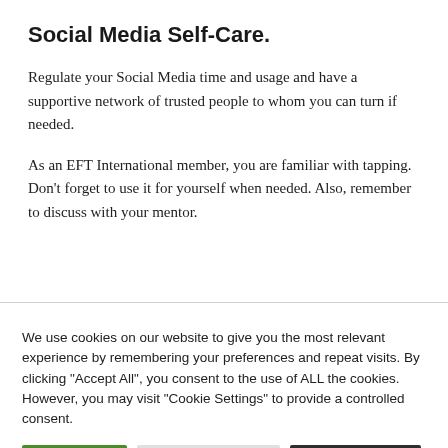Social Media Self-Care.
Regulate your Social Media time and usage and have a supportive network of trusted people to whom you can turn if needed.
As an EFT International member, you are familiar with tapping. Don’t forget to use it for yourself when needed. Also, remember to discuss with your mentor.
We use cookies on our website to give you the most relevant experience by remembering your preferences and repeat visits. By clicking “Accept All”, you consent to the use of ALL the cookies. However, you may visit “Cookie Settings” to provide a controlled consent.